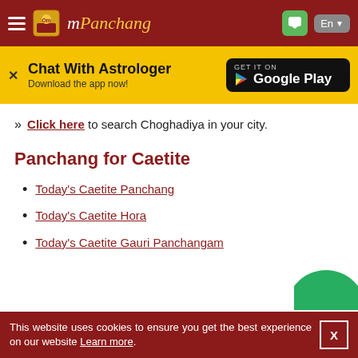mPanchang
[Figure (screenshot): Yellow banner with Chat With Astrologer text and Google Play button]
» Click here to search Choghadiya in your city.
Panchang for Caetite
Today's Caetite Panchang
Today's Caetite Hora
Today's Caetite Gauri Panchangam
This website uses cookies to ensure you get the best experience on our website Learn more. X